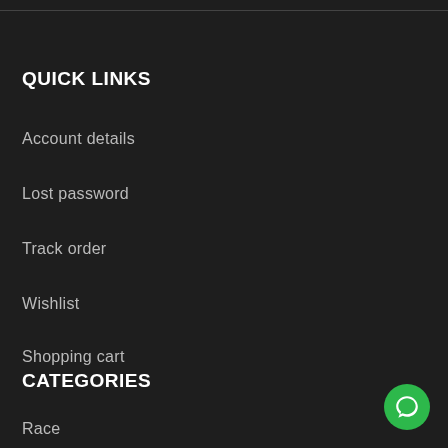QUICK LINKS
Account details
Lost password
Track order
Wishlist
Shopping cart
CATEGORIES
Race
[Figure (illustration): Green circular chat/message button in bottom-right corner]